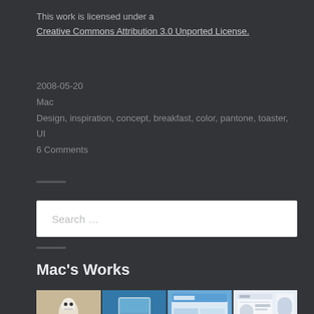This work is licensed under a Creative Commons Attribution 3.0 Unported License.
2008-05-20
Mac
Design, inspiration, concept, breakfast, color, pantone, toaster, UI
6 Comments
[Figure (screenshot): Search box input field with placeholder text 'Search ...']
Mac's Works
[Figure (photo): Gallery grid of portfolio/work images including a robot figure, Mac computer, UI screenshots, and web design mockups arranged in a 4x2 grid]